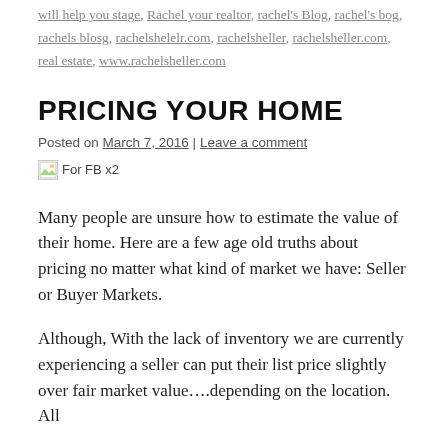will help you stage, Rachel your realtor, rachel's Blog, rachel's bog, rachels blosg, rachelshelelr.com, rachelsheller, rachelsheller.com, real estate, www.rachelsheller.com
PRICING YOUR HOME
Posted on March 7, 2016 | Leave a comment
[Figure (other): Broken image placeholder labeled 'For FB x2']
Many people are unsure how to estimate the value of their home. Here are a few age old truths about pricing no matter what kind of market we have: Seller or Buyer Markets.
Although, With the lack of inventory we are currently experiencing a seller can put their list price slightly over fair market value….depending on the location. All